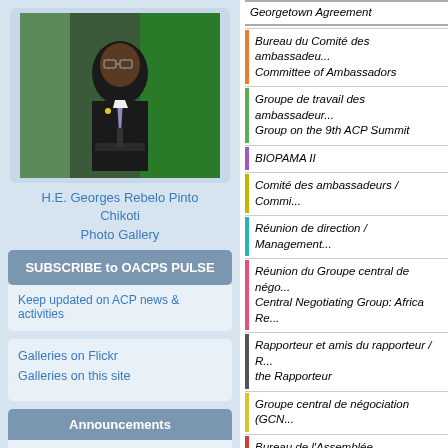[Figure (photo): Photo of H.E. Georges Rebelo Pinto Chikoti speaking at a podium]
H.E. Georges Rebelo Pinto Chikoti
Photo Gallery
SUBSCRIBE to OACPS PULSE
Keep updated on ACP news & activities
Galleries on Flickr
Galleries on this site
Announcements
International call for tenders for
Georgetown Agreement
Bureau du Comité des ambassadeurs / Committee of Ambassadors
Groupe de travail des ambassadeurs / Group on the 9th ACP Summit
BIOPAMA II
Comité des ambassadeurs / Commi...
Réunion de direction / Management...
Réunion du Groupe central de négo... / Central Negotiating Group: Africa Re...
Rapporteur et amis du rapporteur / ... the Rapporteur
Groupe central de négociation (GCN...
Bureau de l'Assemblée parlementai... / ACP Parliamentary Assembly
Bureau de l'Assemblée Parlementa... / Parliamentary Assembly
Meeting of ACP Ministers of Culture / ACP de la Culture